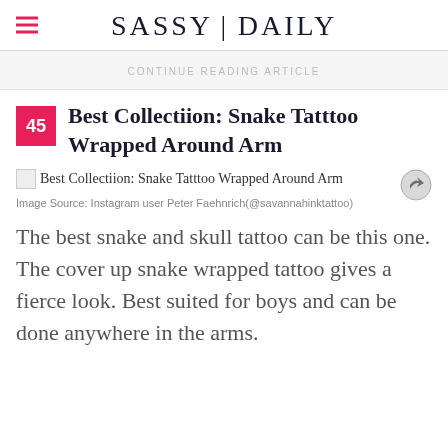SASSY|DAILY
CONTINUE READING ARTICLE
45 Best Collectiion: Snake Tatttoo Wrapped Around Arm
[Figure (photo): Broken image placeholder with alt text: Best Collectiion: Snake Tatttoo Wrapped Around Arm, with a share icon]
Image Source: Instagram user Peter Faehnrich(@savannahinktattoo)
The best snake and skull tattoo can be this one. The cover up snake wrapped tattoo gives a fierce look. Best suited for boys and can be done anywhere in the arms.